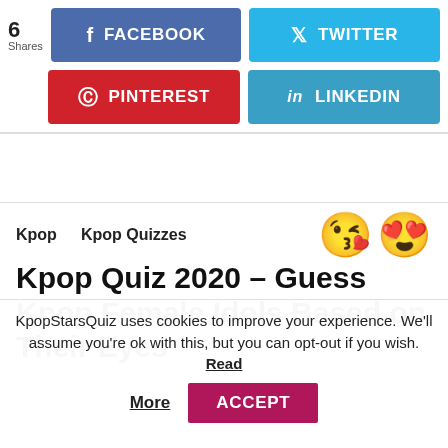6 Shares
[Figure (infographic): Social share buttons: Facebook (blue), Twitter (light blue), Pinterest (red), LinkedIn (teal)]
Kpop   Kpop Quizzes
Kpop Quiz 2020 – Guess Kpop Female Idols Based on Their Eyes
KpopStarsQuiz uses cookies to improve your experience. We'll assume you're ok with this, but you can opt-out if you wish. Read More  ACCEPT